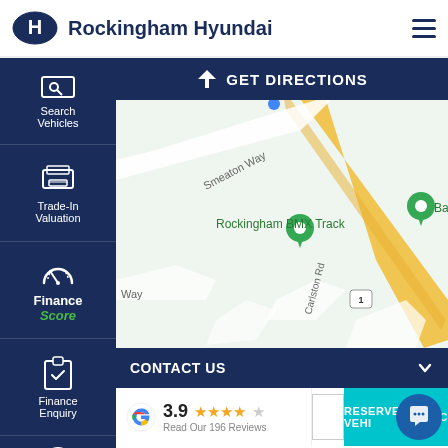[Figure (logo): Hyundai oval logo]
Rockingham Hyundai
Search Vehicles
Trade-In Valuation
Finance Score
Finance Enquiry
GET DIRECTIONS
[Figure (map): Google Maps showing Rockingham BMX Track area with Smeaton Way, Carlston Rd roads, and green location pins]
CONTACT US
3.9 ★★★★☆ Read Our 196 Reviews
RESERVE THIS VEHICLE